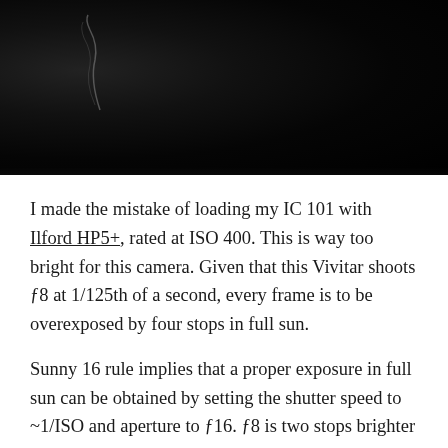[Figure (photo): Dark, nearly black photograph showing a faint curved smoke or light trail against a very dark background, appears to be a severely underexposed or overexposed film photograph.]
I made the mistake of loading my IC 101 with Ilford HP5+, rated at ISO 400. This is way too bright for this camera. Given that this Vivitar shoots ƒ8 at 1/125th of a second, every frame is to be overexposed by four stops in full sun.
Sunny 16 rule implies that a proper exposure in full sun can be obtained by setting the shutter speed to ~1/ISO and aperture to ƒ16. ƒ8 is two stops brighter than ƒ16; IC 101's 1/125 shutter is two stops brighter than the ~1/400. Summing